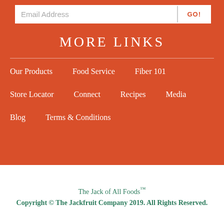Email Address
GO!
MORE LINKS
Our Products
Food Service
Fiber 101
Store Locator
Connect
Recipes
Media
Blog
Terms & Conditions
The Jack of All Foods™
Copyright © The Jackfruit Company 2019. All Rights Reserved.